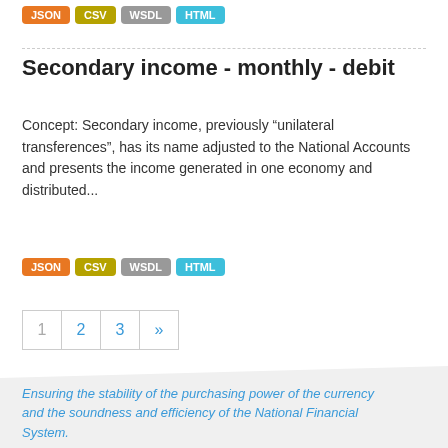[Figure (other): Format buttons: JSON (orange), CSV (yellow), wsdl (grey), HTML (blue)]
Secondary income - monthly - debit
Concept: Secondary income, previously “unilateral transferences”, has its name adjusted to the National Accounts and presents the income generated in one economy and distributed...
[Figure (other): Format buttons: JSON (orange), CSV (yellow), wsdl (grey), HTML (blue)]
[Figure (other): Pagination: 1 (inactive), 2 (link), 3 (link), >> (link)]
You can also access this registry using the API (see API Docs).
Ensuring the stability of the purchasing power of the currency and the soundness and efficiency of the National Financial System.